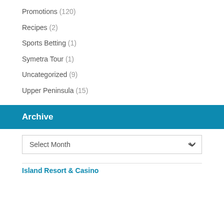Promotions (120)
Recipes (2)
Sports Betting (1)
Symetra Tour (1)
Uncategorized (9)
Upper Peninsula (15)
Archive
Select Month
Island Resort & Casino